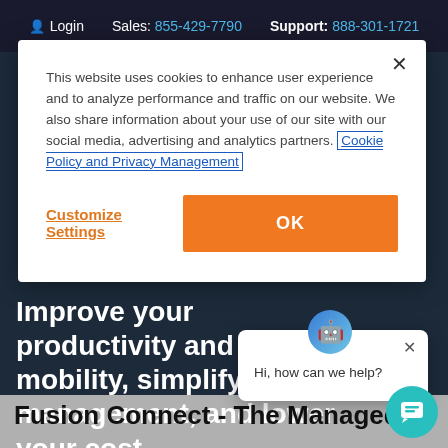Login  Sales: 855-429-7790  Support: 888-301-1721
[Figure (screenshot): Cookie consent modal dialog with close button, cookie policy text with link, Customize Settings link, and OK button]
This website uses cookies to enhance user experience and to analyze performance and traffic on our website. We also share information about your use of our site with our social media, advertising and analytics partners. Cookie Policy and Privacy Management
Customize Settings
OK
Improve your productivity and mobility, simplify management, and lower your cost.
[Figure (screenshot): Chat popup widget with robot icon and text: Hi, how can we help?]
Hi, how can we help?
Fusion Connect - The Managed